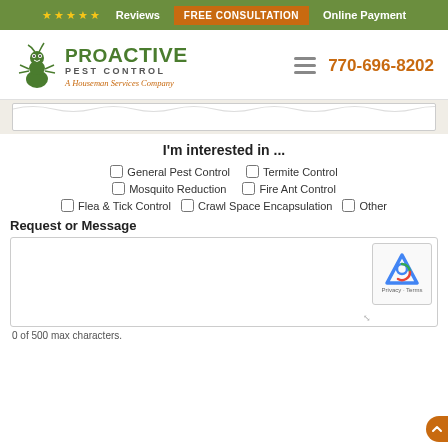★★★★★ Reviews | FREE CONSULTATION | Online Payment
[Figure (logo): ProActive Pest Control logo with ant icon and tagline 'A Houseman Services Company']
770-696-8202
I'm interested in ...
General Pest Control
Termite Control
Mosquito Reduction
Fire Ant Control
Flea & Tick Control
Crawl Space Encapsulation
Other
Request or Message
0 of 500 max characters.